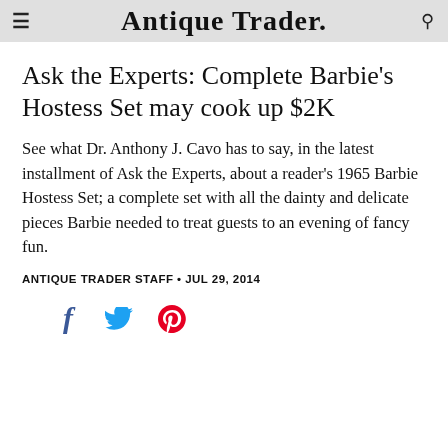Antique Trader.
Ask the Experts: Complete Barbie's Hostess Set may cook up $2K
See what Dr. Anthony J. Cavo has to say, in the latest installment of Ask the Experts, about a reader's 1965 Barbie Hostess Set; a complete set with all the dainty and delicate pieces Barbie needed to treat guests to an evening of fancy fun.
ANTIQUE TRADER STAFF • JUL 29, 2014
[Figure (other): Social share icons: Facebook (f), Twitter (bird), Pinterest (p)]